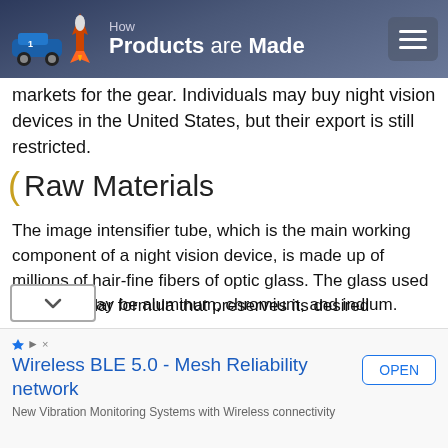How Products are Made
markets for the gear. Individuals may buy night vision devices in the United States, but their export is still restricted.
Raw Materials
The image intensifier tube, which is the main working component of a night vision device, is made up of millions of hair-fine fibers of optic glass. The glass used is a particular formula that preserves its desired characteristics when heated and drawn. Optical quality glass is used for the eyepiece and output window. (The output window is an ocular lens, like the eyepiece of traditional binoculars.) Other materials used in the image intensifier tube are phosphor and gallium arsenide. The tube body is composed of metal and ceramic, and the metals ay be aluminum, chromium, and indium.
[Figure (other): Advertisement banner: Wireless BLE 5.0 - Mesh Reliability network. New Vibration Monitoring Systems with Wireless connectivity. OPEN button.]